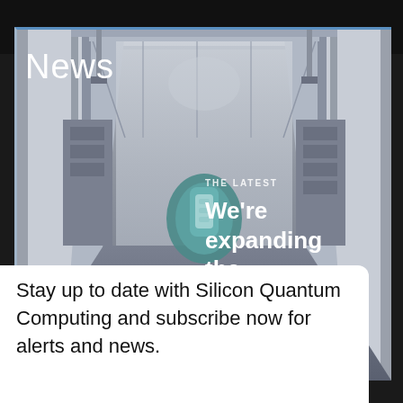[Figure (photo): Interior architectural photo of a quantum computing laboratory facility, showing structural framing, corridors, and a teal-colored quantum processor device in the center. The image has a cool blue-grey tone.]
News
THE LATEST
We're expanding the
Stay up to date with Silicon Quantum Computing and subscribe now for alerts and news.